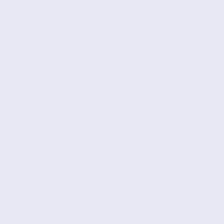alt="Buy Now" title=" Buy Now " width="105" height="24" class="listingBuyNowButton" /></a><br /><br /> <a href="http://www.michaelkorswomens.me/da/michael-kors-han bagage-l%C3%A6der-s%C3%B8lv-p-635.html"><div style="v middle;height:200px"><img src="http://www.michaelkorswomens.me/da/images/_small//mk Kors/Michael-Kors-Hamilton-Large-Tote-Luggage-Leather.jpg' Hamilton Large Tote bagage LÃ¦der SÃ¸lv" title=" Michael Kor Tote bagage LÃ¦der SÃ¸lv " width="200" height="200" class=" id="listimg" /></div></a><br /><h3 class="itemTitle"><a href="http://www.michaelkorswomens.me/da/michael-kors-han bagage-l%C3%A6der-s%C3%B8lv-p-635.html">Michael Kors Tote bagage LÃ¦der SÃ¸lv </a></h3>MICHAEL Michael Kors bagage LÃ¦der SÃ¸lv poster... <br />DKK 2,596 DKK 557 <br /> /><br /><a href="http://www.michaelkorswomens.me/da/micha 16.html?products_id=635&action=buy_now&sort=20a"><img src="http://www.michaelkorswomens.me/da/includes/templates alt="Buy Now" title=" Buy Now " width="105" height="24" class="listingBuyNowButton" /></a><br /><br /> <br class="cl href="http://www.michaelkorswomens.me/da/michael-kors-han navy-l%C3%A6der-colden-p-950.html"><div style="vertical-al middle;height:200px"><img src="http://www.michaelkorswomens.me/da/images/_small//mk Kors/Michael-Kors-Hamilton-Large-Tote-Navy-Leather.jpg" al Hamilton Large Tote Navy LÃ¦der Colden" title=" Michael Kor